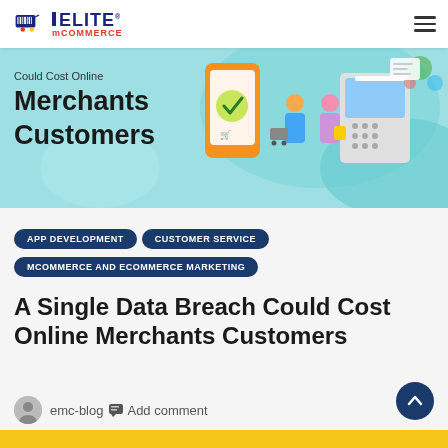Elite mCOMMERCE
[Figure (illustration): Hero banner with teal background showing shopping/commerce illustration with mobile phone, shopping cart, people, and POS terminal. Text reads: Could Cost Online Merchants Customers]
APP DEVELOPMENT
CUSTOMER SERVICE
MCOMMERCE AND ECOMMERCE MARKETING
A Single Data Breach Could Cost Online Merchants Customers
emc-blog  Add comment